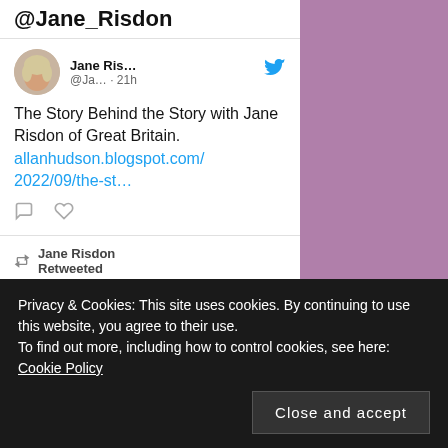@Jane_Risdon
[Figure (screenshot): Tweet card from Jane Ris... @Ja... · 21h with Twitter bird icon, avatar photo of Jane Risdon, tweet text and link]
The Story Behind the Story with Jane Risdon of Great Britain. allanhudson.blogspot.com/2022/09/the-st…
[Figure (screenshot): Retweet section: Jane Risdon Retweeted with retweet icon, partial avatar and Twitter bird icon]
Reviewed in the United
Privacy & Cookies: This site uses cookies. By continuing to use this website, you agree to their use.
To find out more, including how to control cookies, see here:
Cookie Policy
Close and accept